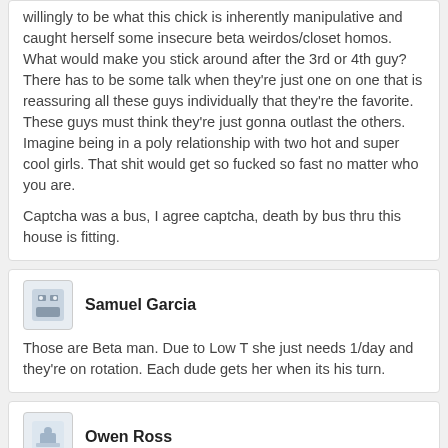willingly to be what this chick is inherently manipulative and caught herself some insecure beta weirdos/closet homos. What would make you stick around after the 3rd or 4th guy? There has to be some talk when they're just one on one that is reassuring all these guys individually that they're the favorite. These guys must think they're just gonna outlast the others. Imagine being in a poly relationship with two hot and super cool girls. That shit would get so fucked so fast no matter who you are.

Captcha was a bus, I agree captcha, death by bus thru this house is fitting.
Samuel Garcia
Those are Beta man. Due to Low T she just needs 1/day and they're on rotation. Each dude gets her when its his turn.
Owen Ross
>implying that man gives a fuck what pops out so long